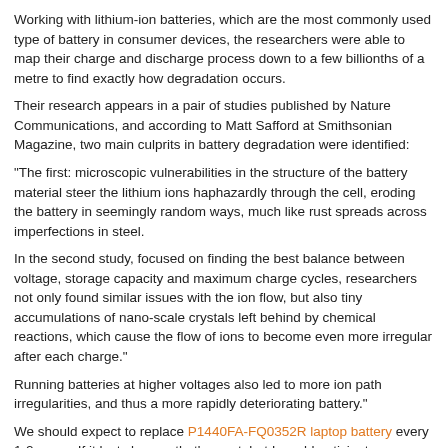Working with lithium-ion batteries, which are the most commonly used type of battery in consumer devices, the researchers were able to map their charge and discharge process down to a few billionths of a metre to find exactly how degradation occurs.
Their research appears in a pair of studies published by Nature Communications, and according to Matt Safford at Smithsonian Magazine, two main culprits in battery degradation were identified:
"The first: microscopic vulnerabilities in the structure of the battery material steer the lithium ions haphazardly through the cell, eroding the battery in seemingly random ways, much like rust spreads across imperfections in steel.
In the second study, focused on finding the best balance between voltage, storage capacity and maximum charge cycles, researchers not only found similar issues with the ion flow, but also tiny accumulations of nano-scale crystals left behind by chemical reactions, which cause the flow of ions to become even more irregular after each charge."
Running batteries at higher voltages also led to more ion path irregularities, and thus a more rapidly deteriorating battery."
We should expect to replace P1440FA-FQ0352R laptop battery every 1-2 years. If it lasts longer, that's great, but I would anticipate replacing it around then.
How do I check whether P1440FA-FQ0352R laptop battery is dead or not?
Press F8 when booting up your P1440FA-FQ0352R laptop.
At the bottom after the booting options, there will be a system diagnostics.
After selecting that, your system will automatically check the proper